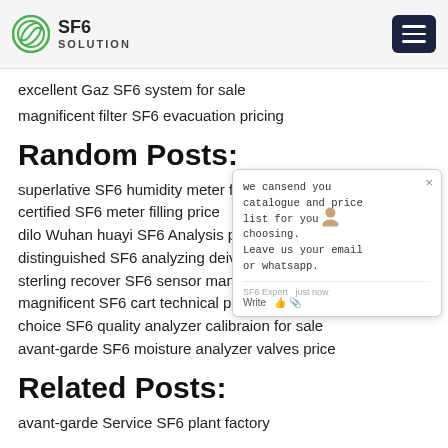SF6 SOLUTION
excellent Gaz SF6 system for sale
magnificent filter SF6 evacuation pricing
Random Posts:
superlative SF6 humidity meter filter price
certified SF6 meter filling price
dilo Wuhan huayi SF6 Analysis price
distinguished SF6 analyzing deivce...
sterling recover SF6 sensor manufacturers
magnificent SF6 cart technical price
choice SF6 quality analyzer calibraion for sale
avant-garde SF6 moisture analyzer valves price
Related Posts:
avant-garde Service SF6 plant factory